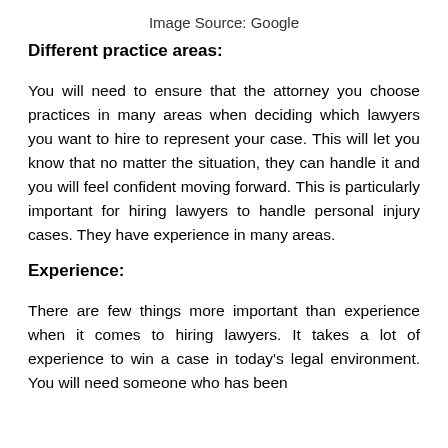Image Source: Google
Different practice areas:
You will need to ensure that the attorney you choose practices in many areas when deciding which lawyers you want to hire to represent your case. This will let you know that no matter the situation, they can handle it and you will feel confident moving forward. This is particularly important for hiring lawyers to handle personal injury cases. They have experience in many areas.
Experience:
There are few things more important than experience when it comes to hiring lawyers. It takes a lot of experience to win a case in today's legal environment. You will need someone who has been